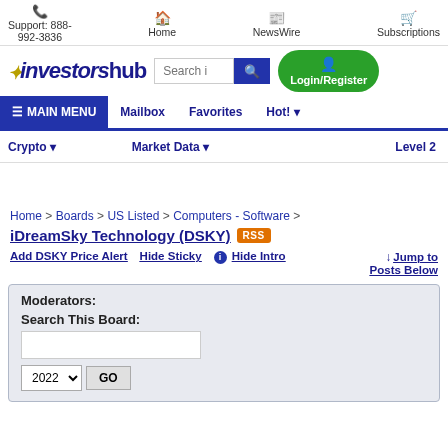Support: 888-992-3836  Home  NewsWire  Subscriptions
[Figure (logo): InvestorsHub logo with search bar and Login/Register button]
MAIN MENU  Mailbox  Favorites  Hot!
Crypto  Market Data  Level 2
Home > Boards > US Listed > Computers - Software >
iDreamSky Technology (DSKY)  RSS
Add DSKY Price Alert   Hide Sticky   Hide Intro   Jump to Posts Below
| Moderators: |
| Search This Board: |
| [text input] |
| 2022  GO |